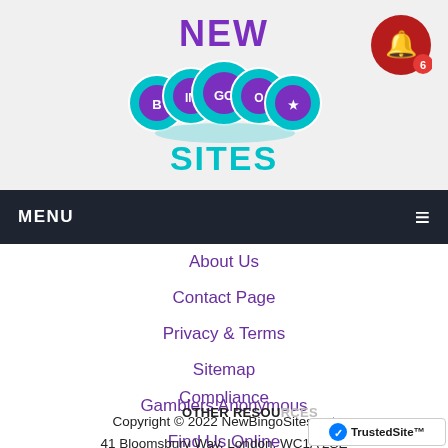[Figure (logo): New Bingo Sites logo with colorful bingo balls and teal/purple text]
[Figure (other): Red circular notification bell button with number 6 badge]
MENU ≡
About Us
Contact Page
Privacy & Terms
Sitemap
Gamblers Anonymous
Find Us Online
Compliance
Copyright © 2022 NewBingoSites.net
41 Bloomsbury Way, London, WC1A 2SE
OTHER RESOURCES
[Figure (logo): TrustedSite badge with checkmark logo]